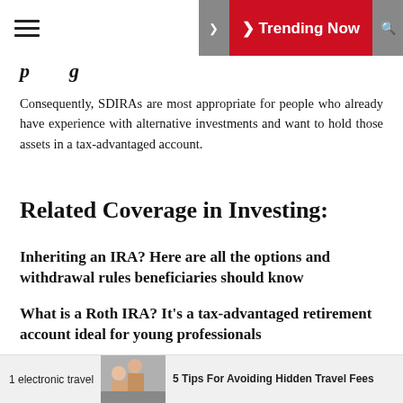≡   ❯ Trending Now 🔍
Consequently, SDIRAs are most appropriate for people who already have experience with alternative investments and want to hold those assets in a tax-advantaged account.
Related Coverage in Investing:
Inheriting an IRA? Here are all the options and withdrawal rules beneficiaries should know
What is a Roth IRA? It's a tax-advantaged retirement account ideal for young professionals
How to invest in index funds in and out of retirement accounts
1 electronic travel   [image]   5 Tips For Avoiding Hidden Travel Fees